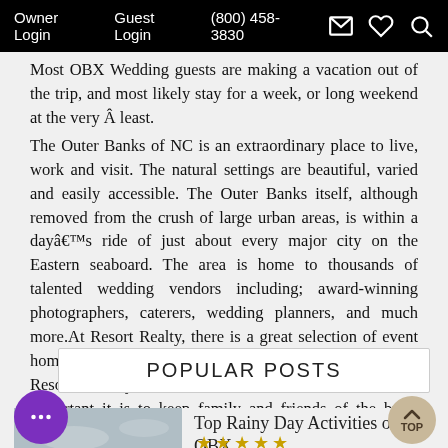Owner Login   Guest Login   (800) 458-3830
Most OBX Wedding guests are making a vacation out of the trip, and most likely stay for a week, or long weekend at the very Â least.
The Outer Banks of NC is an extraordinary place to live, work and visit. The natural settings are beautiful, varied and easily accessible. The Outer Banks itself, although removed from the crush of large urban areas, is within a dayâ€™s ride of just about every major city on the Eastern seaboard. The area is home to thousands of talented wedding vendors including; award-winning photographers, caterers, wedding planners, and much more.At Resort Realty, there is a great selection of event homes in our inventory and perhaps most importantly, the Resort Realty reservations staff understands how important it is to keep family and friends of the bride together in close proximity to one another.
POPULAR POSTS
Top Rainy Day Activities on the OBX